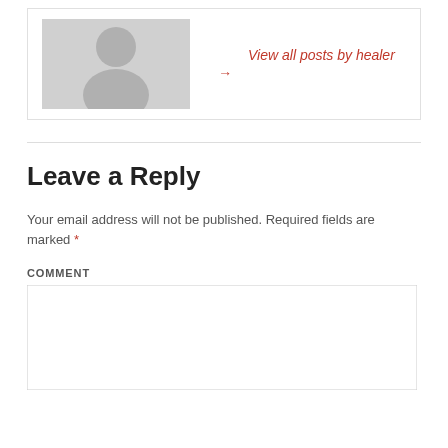[Figure (illustration): Gray placeholder avatar image showing a silhouette of a person]
View all posts by healer →
Leave a Reply
Your email address will not be published. Required fields are marked *
COMMENT
[Figure (screenshot): Empty comment textarea input box]